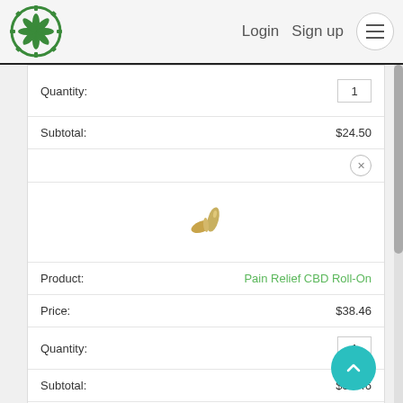[Figure (logo): Cannabis leaf logo in green gear/cog circle]
Login   Sign up
Quantity:  1
Subtotal:  $24.50
[Figure (photo): CBD roll-on product image - small gold/yellow items]
Product:  Pain Relief CBD Roll-On
Price:  $38.46
Quantity:  1
Subtotal:  $38.46
[Figure (photo): Hemp flower packet in green sealed bag]
Product:  3.5g (one eighth) Hemp Flower Packet
Price:  $45.94
Quantity:  1